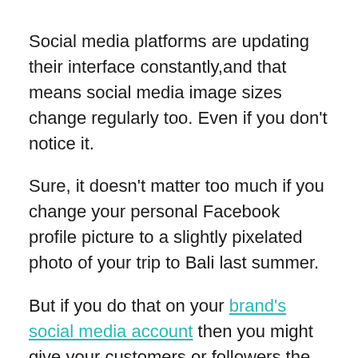Social media platforms are updating their interface constantly,and that means social media image sizes change regularly too. Even if you don't notice it.
Sure, it doesn't matter too much if you change your personal Facebook profile picture to a slightly pixelated photo of your trip to Bali last summer.
But if you do that on your brand's social media account then you might give your customers or followers the wrong message.
This guide breaks down the recommended social media image sizes, aspect ratios and pixel dimensions that you should be uploading to various online platforms. And they're all completely up-to-date. We've included profile pictures, cover pictures and pictures you post where